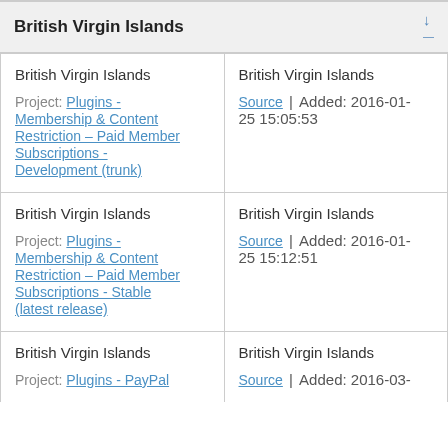British Virgin Islands
| Location/Project | Location/Source/Added |
| --- | --- |
| British Virgin Islands
Project: Plugins - Membership & Content Restriction – Paid Member Subscriptions - Development (trunk) | British Virgin Islands
Source | Added: 2016-01-25 15:05:53 |
| British Virgin Islands
Project: Plugins - Membership & Content Restriction – Paid Member Subscriptions - Stable (latest release) | British Virgin Islands
Source | Added: 2016-01-25 15:12:51 |
| British Virgin Islands
Project: Plugins - PayPal | British Virgin Islands
Source | Added: 2016-03- |